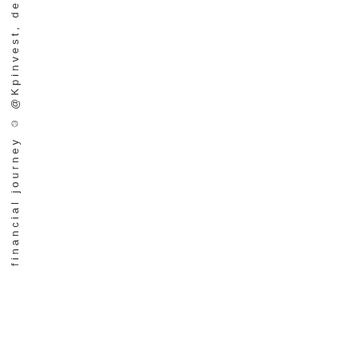financial journey ☺ @Kpinvest, de